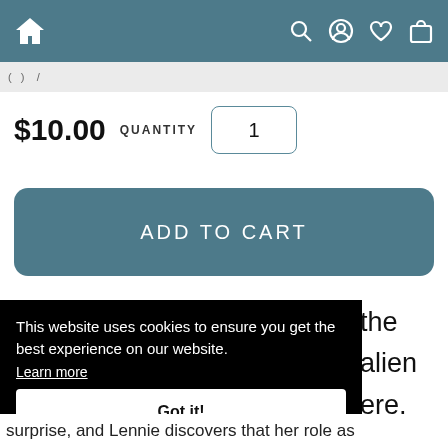Navigation bar with home, search, account, wishlist, and cart icons
$10.00  QUANTITY  1
ADD TO CART
This website uses cookies to ensure you get the best experience on our website. Learn more Got it!
the alien ere, ns eir earch
surprise, and Lennie discovers that her role as